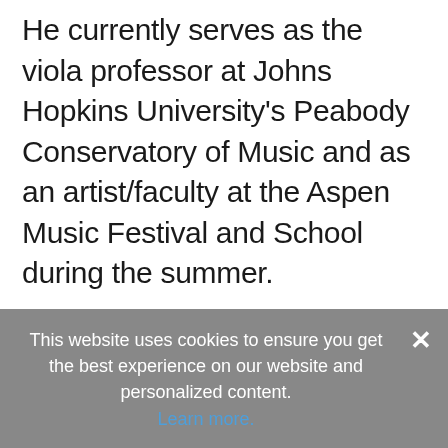He currently serves as the viola professor at Johns Hopkins University's Peabody Conservatory of Music and as an artist/faculty at the Aspen Music Festival and School during the summer.
Photo: Jessica Griffin
This website uses cookies to ensure you get the best experience on our website and personalized content. Learn more.